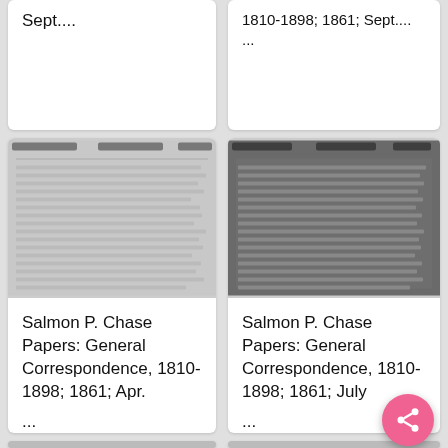Sept....
1810-1898; 1861; Sept....
[Figure (photo): Scanned document page thumbnail, light gray background with faint text lines]
[Figure (photo): Scanned document page thumbnail, dark gray background]
Salmon P. Chase Papers: General Correspondence, 1810-1898; 1861; Apr.
...
Salmon P. Chase Papers: General Correspondence, 1810-1898; 1861; July
...
[Figure (photo): Partial scanned document thumbnail at bottom left]
[Figure (photo): Partial scanned document thumbnail at bottom right]